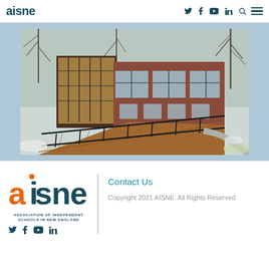aisne — social icons (twitter, facebook, youtube, linkedin, search) — hamburger menu
[Figure (photo): Exterior photo of a school building with large glass windows and a wooden walkway/ramp in winter, brick facade, bare trees, and snow on the ground]
[Figure (logo): AISNE logo — Association of Independent Schools in New England — with social media icons (twitter, facebook, youtube, linkedin)]
Contact Us
Copyright 2021 AISNE. All Rights Reserved